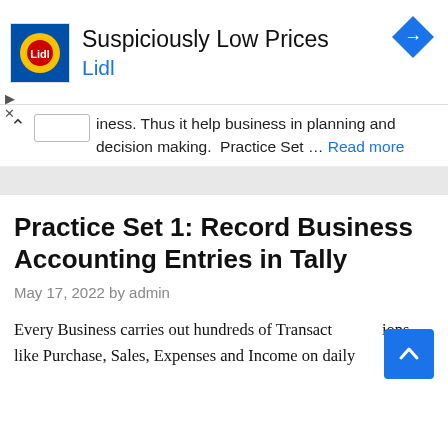[Figure (other): Lidl advertisement banner with Lidl logo, 'Suspiciously Low Prices' heading, 'Lidl' subheading in blue, and a blue navigation arrow icon on the right.]
iness. Thus it help business in planning and decision making.  Practice Set … Read more
Practice Set 1: Record Business Accounting Entries in Tally
May 17, 2022 by admin
Every Business carries out hundreds of Transactions like Purchase, Sales, Expenses and Income on daily